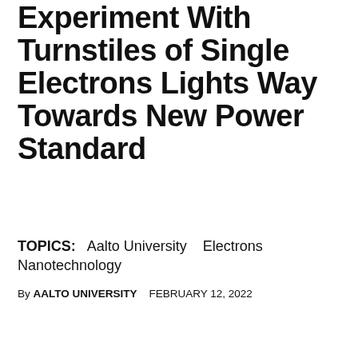Experiment With Turnstiles of Single Electrons Lights Way Towards New Power Standard
TOPICS:   Aalto University   Electrons
Nanotechnology
By AALTO UNIVERSITY   FEBRUARY 12, 2022